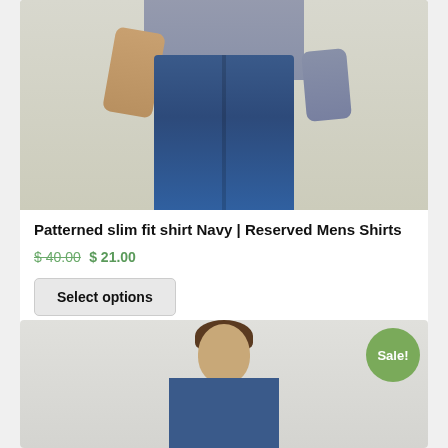[Figure (photo): Man wearing a patterned grey slim fit shirt with blue jeans, hand in pocket, cropped at torso]
Patterned slim fit shirt Navy | Reserved Mens Shirts
$ 40.00 $ 21.00
Select options
[Figure (photo): Second product photo showing a young man with curly hair, Sale! badge visible in top right corner]